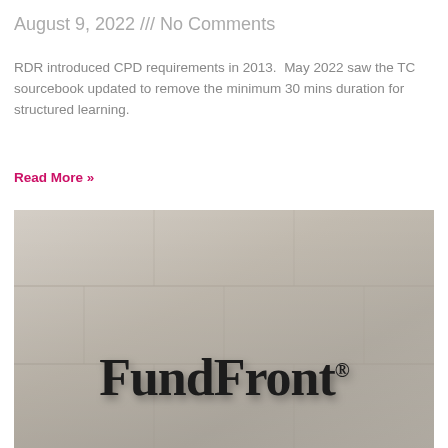August 9, 2022 /// No Comments
RDR introduced CPD requirements in 2013.  May 2022 saw the TC sourcebook updated to remove the minimum 30 mins duration for structured learning.
Read More »
[Figure (photo): Photo of a stone wall with the FundFront logo mounted on it in large dark serif letters]